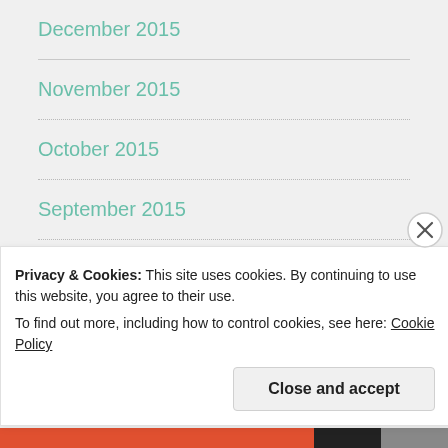December 2015
November 2015
October 2015
September 2015
August 2015
July 2015
CATEGORIES
Privacy & Cookies: This site uses cookies. By continuing to use this website, you agree to their use.
To find out more, including how to control cookies, see here: Cookie Policy
Close and accept